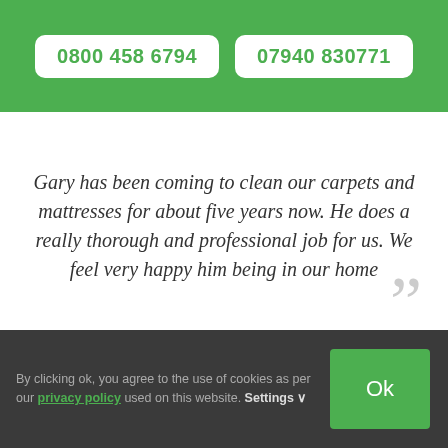0800 458 6794
07940 830771
Gary has been coming to clean our carpets and mattresses for about five years now. He does a really thorough and professional job for us. We feel very happy him being in our home
By clicking ok, you agree to the use of cookies as per our privacy policy used on this website. Settings ∨
Ok
[Figure (logo): Google Rating widget showing 4.9 stars based on 31 reviews with Google G logo]
Google Rating 4.9 ★★★★★ Based on 31 reviews